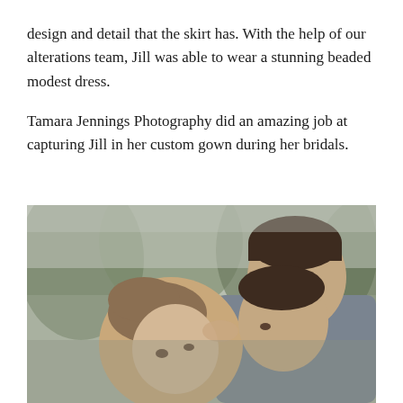design and detail that the skirt has. With the help of our alterations team, Jill was able to wear a stunning beaded modest dress.
Tamara Jennings Photography did an amazing job at capturing Jill in her custom gown during her bridals.
[Figure (photo): A close-up photograph of a bride and groom with their foreheads nearly touching, in an intimate pose outdoors with blurred green trees in the background. The groom wears a gray suit.]